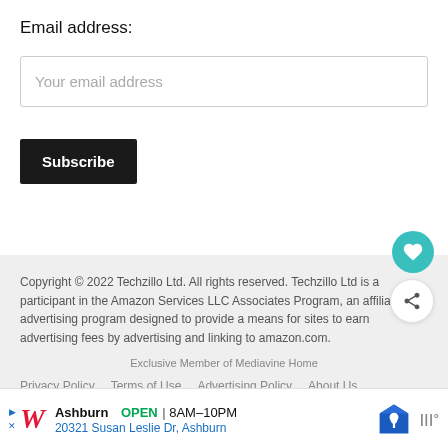Email address:
Your email address
Subscribe
Copyright © 2022 Techzillo Ltd. All rights reserved. Techzillo Ltd is a participant in the Amazon Services LLC Associates Program, an affiliate advertising program designed to provide a means for sites to earn advertising fees by advertising and linking to amazon.com.
Exclusive Member of Mediavine Home
Privacy Policy   Terms of Use   Advertising Policy   About Us
[Figure (other): Ad banner: Walgreens Ashburn OPEN 8AM-10PM, 20321 Susan Leslie Dr, Ashburn with map icon]